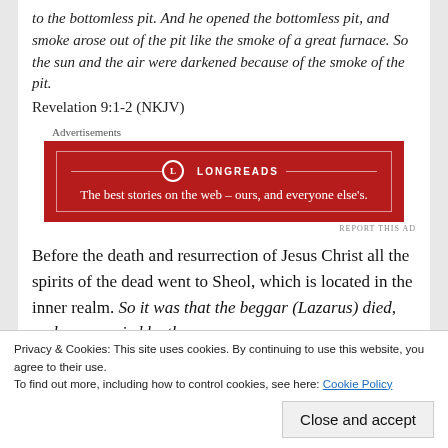to the bottomless pit. And he opened the bottomless pit, and smoke arose out of the pit like the smoke of a great furnace. So the sun and the air were darkened because of the smoke of the pit.
Revelation 9:1-2 (NKJV)
[Figure (other): Longreads advertisement banner: red background with the text 'The best stories on the web – ours, and everyone else's.']
Before the death and resurrection of Jesus Christ all the spirits of the dead went to Sheol, which is located in the inner realm. So it was that the beggar (Lazarus) died, and was carried by the
Privacy & Cookies: This site uses cookies. By continuing to use this website, you agree to their use.
To find out more, including how to control cookies, see here: Cookie Policy
Close and accept